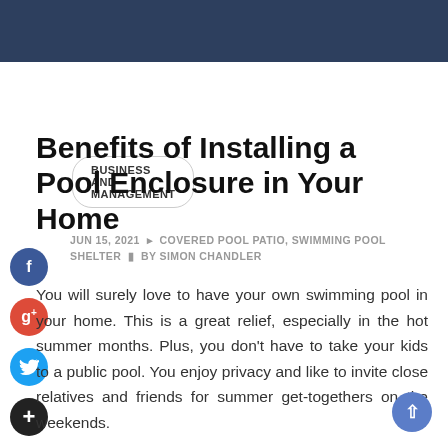BUSINESS AND MANAGEMENT
Benefits of Installing a Pool Enclosure in Your Home
JUN 15, 2021  COVERED POOL PATIO, SWIMMING POOL SHELTER  BY SIMON CHANDLER
You will surely love to have your own swimming pool in your home. This is a great relief, especially in the hot summer months. Plus, you don't have to take your kids to a public pool. You enjoy privacy and like to invite close relatives and friends for summer get-togethers on the weekends.